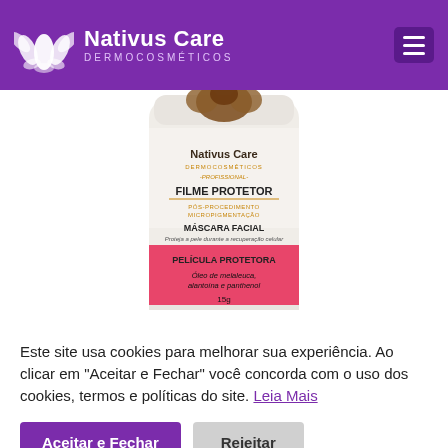Nativus Care DERMOCOSMÉTICOS
[Figure (photo): Product photo of Nativus Care Filme Protetor – Máscara Facial product jar, white with pink label. Shows text: Nativus Care Dermocosméticos Profissional, Filme Protetor, Pós-Procedimento Micropigmentação, Máscara Facial, Proteja a pele durante a recuperação celular, Película Protetora, Óleo de melaleuca, alantoína e panthenol, 15g]
Este site usa cookies para melhorar sua experiência. Ao clicar em "Aceitar e Fechar" você concorda com o uso dos cookies, termos e políticas do site. Leia Mais
Aceitar e Fechar
Rejeitar